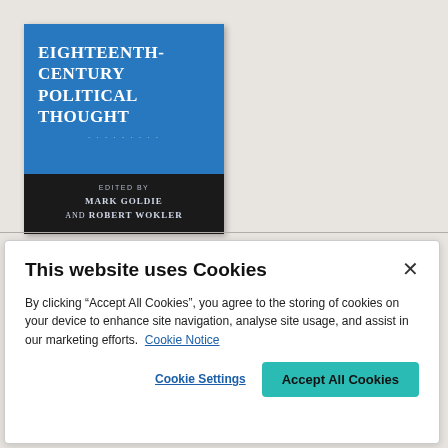[Figure (illustration): Book cover of 'Eighteenth-Century Political Thought', edited by Mark Goldie and Robert Wokler. Blue cover with white serif title text and dark editor panel at bottom.]
This website uses Cookies
By clicking “Accept All Cookies”, you agree to the storing of cookies on your device to enhance site navigation, analyse site usage, and assist in our marketing efforts.  Cookie Notice
Cookie Settings   Accept All Cookies